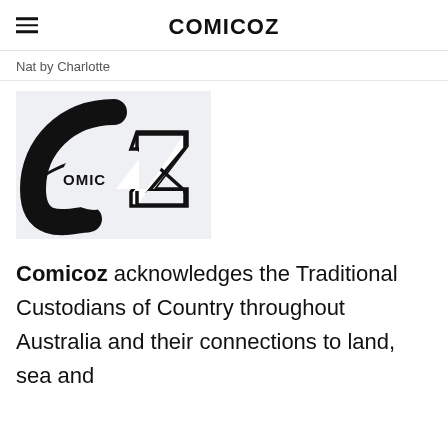COMICOZ
Nat by Charlotte
[Figure (logo): Comicoz logo: a stylized letter C made of thick black brushstroke forming a circle, with the text 'OMIC' inside and a bold geometric Z shape overlapping on the right side, all in black on a light gray background.]
Comicoz acknowledges the Traditional Custodians of Country throughout Australia and their connections to land, sea and